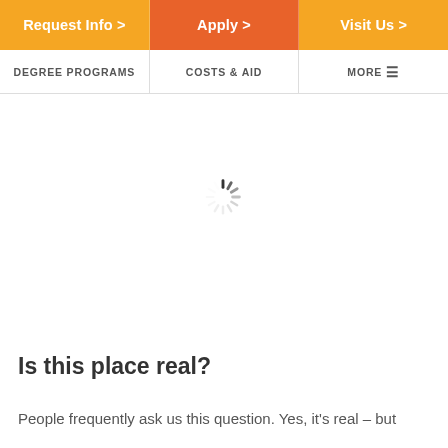Request Info > | Apply > | Visit Us >
DEGREE PROGRAMS | COSTS & AID | MORE
[Figure (other): Loading spinner icon (circular dashed spinner)]
Is this place real?
People frequently ask us this question. Yes, it's real – but